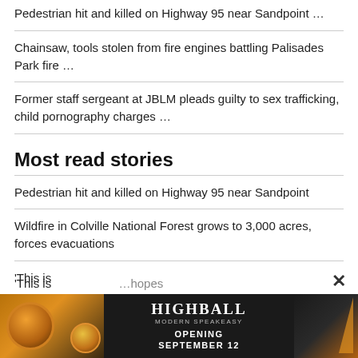Pedestrian hit and killed on Highway 95 near Sandpoint …
Chainsaw, tools stolen from fire engines battling Palisades Park fire …
Former staff sergeant at JBLM pleads guilty to sex trafficking, child pornography charges …
Most read stories
Pedestrian hit and killed on Highway 95 near Sandpoint
Wildfire in Colville National Forest grows to 3,000 acres, forces evacuations
'This is …hopes
[Figure (screenshot): Advertisement banner for Highball Modern Speakeasy, opening September 12. Dark background with gold orb graphics. Text reads HIGHBALL MODERN SPEAKEASY OPENING SEPTEMBER 12. A close button (×) appears above the ad.]